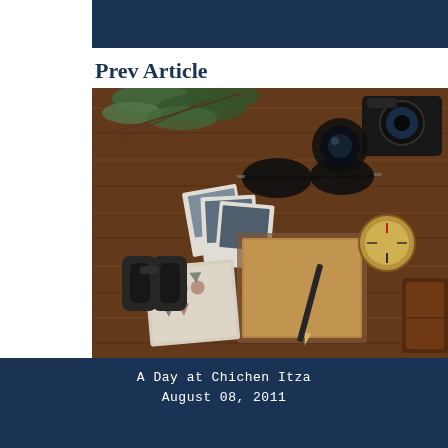Prev Article
[Figure (photo): Flat lay of travel items on a wooden table: eucalyptus branches, polaroid photos, sunglasses, a camera lens, binoculars, a patterned notebook, kraft paper notebook, pencil, compass, and a leather journal.]
A Day at Chichen Itza
August 08, 2011